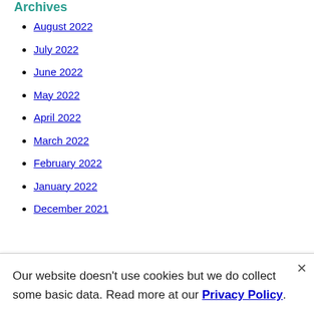Archives
August 2022
July 2022
June 2022
May 2022
April 2022
March 2022
February 2022
January 2022
December 2021
Our website doesn't use cookies but we do collect some basic data. Read more at our Privacy Policy.